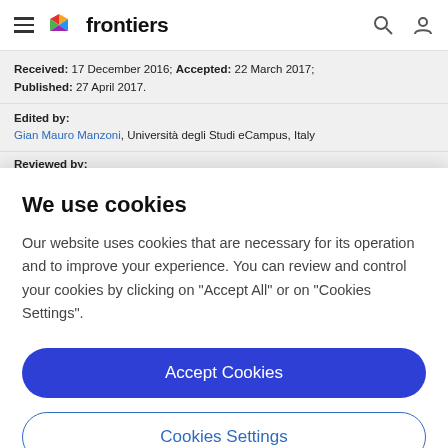frontiers
Received: 17 December 2016; Accepted: 22 March 2017; Published: 27 April 2017.
Edited by:
Gian Mauro Manzoni, Università degli Studi eCampus, Italy
Reviewed by:
We use cookies
Our website uses cookies that are necessary for its operation and to improve your experience. You can review and control your cookies by clicking on "Accept All" or on "Cookies Settings".
Accept Cookies
Cookies Settings